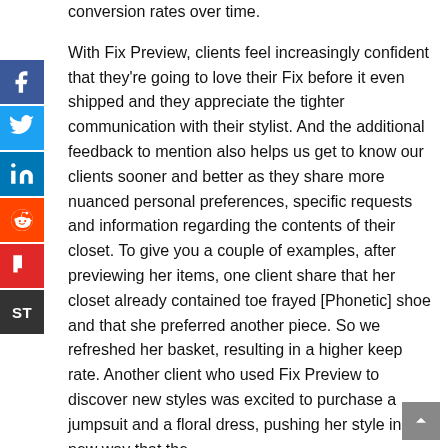conversion rates over time.

With Fix Preview, clients feel increasingly confident that they're going to love their Fix before it even shipped and they appreciate the tighter communication with their stylist. And the additional feedback to mention also helps us get to know our clients sooner and better as they share more nuanced personal preferences, specific requests and information regarding the contents of their closet. To give you a couple of examples, after previewing her items, one client share that her closet already contained toe frayed [Phonetic] shoe and that she preferred another piece. So we refreshed her basket, resulting in a higher keep rate. Another client who used Fix Preview to discover new styles was excited to purchase a jumpsuit and a floral dress, pushing her style in a new way that the